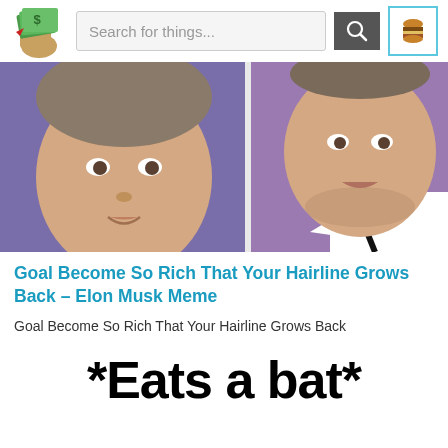[Figure (screenshot): Website header with logo (hand holding money), search bar with 'Search for things...' placeholder, search button, and hamburger menu button]
[Figure (photo): Side-by-side comparison photo of Elon Musk younger (left) and older (right), showing hairline difference, used as meme image]
Goal Become So Rich That Your Hairline Grows Back – Elon Musk Meme
Goal Become So Rich That Your Hairline Grows Back
*Eats a bat*